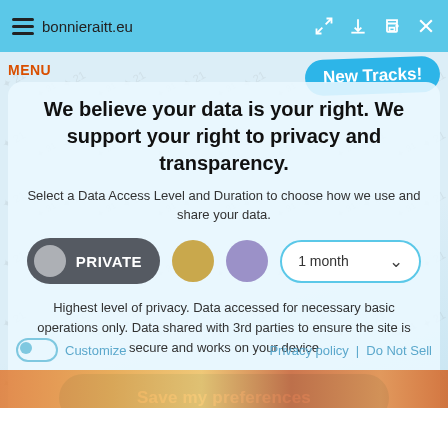bonnieraitt.eu
MENU
[Figure (other): Blue rounded button with handwritten text 'New Tracks!']
We believe your data is your right. We support your right to privacy and transparency.
Select a Data Access Level and Duration to choose how we use and share your data.
[Figure (infographic): Privacy controls row with PRIVATE toggle pill (dark grey), gold circle, purple circle, and '1 month' dropdown selector]
Highest level of privacy. Data accessed for necessary basic operations only. Data shared with 3rd parties to ensure the site is secure and works on your device
Save my preferences
Customize
Privacy policy | Do Not Sell